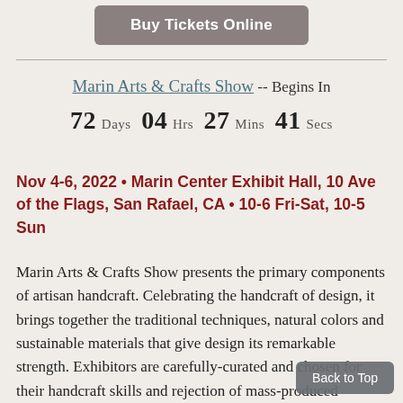[Figure (other): Buy Tickets Online button, rounded rectangle, grey-brown background, white bold text]
Marin Arts & Crafts Show -- Begins In
72 Days 04 Hrs 27 Mins 41 Secs
Nov 4-6, 2022 • Marin Center Exhibit Hall, 10 Ave of the Flags, San Rafael, CA • 10-6 Fri-Sat, 10-5 Sun
Marin Arts & Crafts Show presents the primary components of artisan handcraft. Celebrating the handcraft of design, it brings together the traditional techniques, natural colors and sustainable materials that give design its remarkable strength. Exhibitors are carefully-curated and chosen for their handcraft skills and rejection of mass-produced products. The products include textiles, stained glass, furniture, ceramics, metalwork, jewelry, recovered architectural